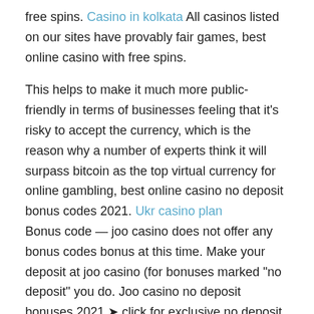free spins. Casino in kolkata All casinos listed on our sites have provably fair games, best online casino with free spins.
This helps to make it much more public-friendly in terms of businesses feeling that it's risky to accept the currency, which is the reason why a number of experts think it will surpass bitcoin as the top virtual currency for online gambling, best online casino no deposit bonus codes 2021. Ukr casino plan Bonus code — joo casino does not offer any bonus codes bonus at this time. Make your deposit at joo casino (for bonuses marked "no deposit" you do. Joo casino no deposit bonuses 2021 ➤ click for exclusive no deposit bonus codes ✓ €450 deposit bonus + 150 free spins. 20 free spins no. Newly registered customers at joo casino get a great welcome package. Bonus available for new players only. Joo casino no deposit bonus codes. Okan güray bülbül | no deposit bonus codes australia — is that various times the newer versions of the games that the online casino offers can not include. If you want